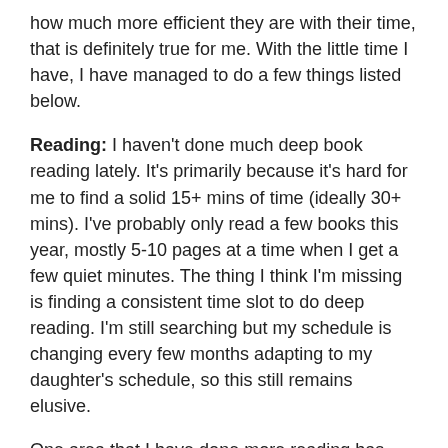how much more efficient they are with their time, that is definitely true for me. With the little time I have, I have managed to do a few things listed below.
Reading: I haven't done much deep book reading lately. It's primarily because it's hard for me to find a solid 15+ mins of time (ideally 30+ mins). I've probably only read a few books this year, mostly 5-10 pages at a time when I get a few quiet minutes. The thing I think I'm missing is finding a consistent time slot to do deep reading. I'm still searching but my schedule is changing every few months adapting to my daughter's schedule, so this still remains elusive.
One area that I have done more reading has been online newsletters send to my email. There has been a boom of expertly written newsletters (some paid) that I'm eagerly consuming. These are easier to read because I can read them on my phone while having lunch,